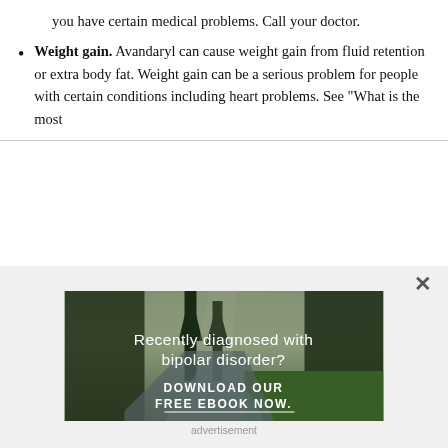you have certain medical problems. Call your doctor.
Weight gain. Avandaryl can cause weight gain from fluid retention or extra body fat. Weight gain can be a serious problem for people with certain conditions including heart problems. See "What is the most
[Figure (photo): Advertisement image showing a forest scene with trees and a river path. Text overlay reads 'Recently diagnosed with bipolar disorder? DOWNLOAD OUR FREE EBOOK NOW.' with a white underline.]
advertisement